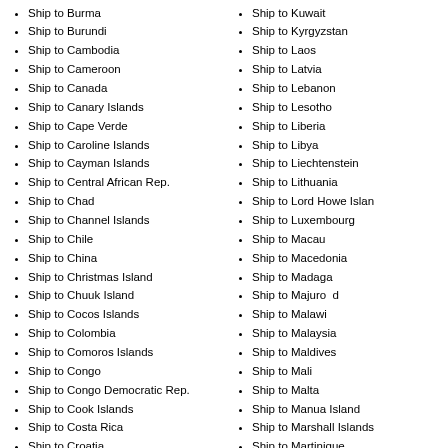Ship to Burma
Ship to Burundi
Ship to Cambodia
Ship to Cameroon
Ship to Canada
Ship to Canary Islands
Ship to Cape Verde
Ship to Caroline Islands
Ship to Cayman Islands
Ship to Central African Rep.
Ship to Chad
Ship to Channel Islands
Ship to Chile
Ship to China
Ship to Christmas Island
Ship to Chuuk Island
Ship to Cocos Islands
Ship to Colombia
Ship to Comoros Islands
Ship to Congo
Ship to Congo Democratic Rep.
Ship to Cook Islands
Ship to Costa Rica
Ship to Croatia
Ship to Cuba
Ship to Curacao
Ship to Cyprus
Ship to Czech Republic
Ship to Denmark
Ship to Djibouti
Ship to Dominica
Ship to Dominican Rep.
Ship to Kuwait
Ship to Kyrgyzstan
Ship to Laos
Ship to Latvia
Ship to Lebanon
Ship to Lesotho
Ship to Liberia
Ship to Libya
Ship to Liechtenstein
Ship to Lithuania
Ship to Lord Howe Island
Ship to Luxembourg
Ship to Macau
Ship to Macedonia
Ship to Madagascar
Ship to Majuro Island
Ship to Malawi
Ship to Malaysia
Ship to Maldives
Ship to Mali
Ship to Malta
Ship to Manua Island
Ship to Marshall Islands
Ship to Martinique
Ship to Mauritania
Ship to Mauritius
Ship to Mayotte
Ship to Mexico
Ship to Micronesia
Ship to Moldova
Ship to Monaco
Ship to Mongolia